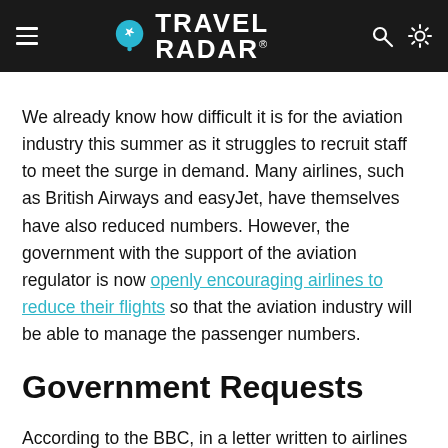TRAVEL RADAR
We already know how difficult it is for the aviation industry this summer as it struggles to recruit staff to meet the surge in demand. Many airlines, such as British Airways and easyJet, have themselves have also reduced numbers. However, the government with the support of the aviation regulator is now openly encouraging airlines to reduce their flights so that the aviation industry will be able to manage the passenger numbers.
Government Requests
According to the BBC, in a letter written to airlines on Tuesday, the government and the aviation regulator said